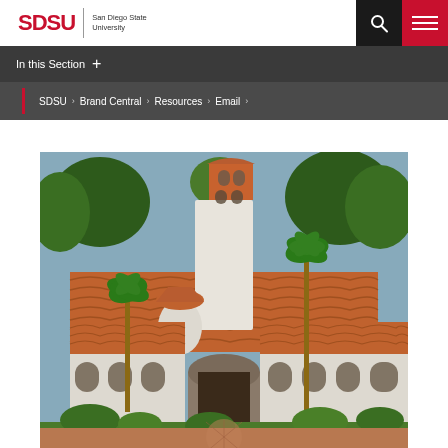SDSU | San Diego State University
In this Section +
SDSU › Brand Central › Resources › Email ›
[Figure (photo): Aerial view of SDSU campus building with Spanish Colonial Revival architecture, featuring red tile roofs, white stucco walls, arched openings, a tower with bell arches, and surrounded by palm trees and lush greenery.]